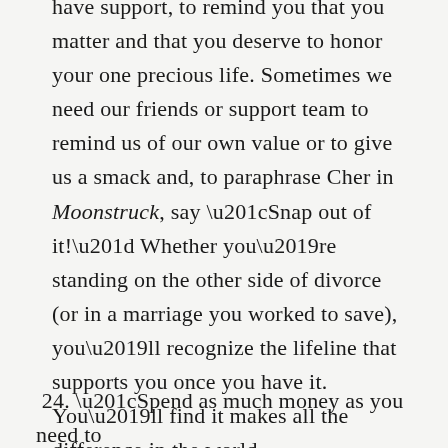those we love. This is why it's important to have support, to remind you that you matter and that you deserve to honor your one precious life. Sometimes we need our friends or support team to remind us of our own value or to give us a smack and, to paraphrase Cher in Moonstruck, say “Snap out of it!” Whether you’re standing on the other side of divorce (or in a marriage you worked to save), you’ll recognize the lifeline that supports you once you have it. You’ll find it makes all the difference in the world.
24. “Spend as much money as you need to create a support team. It’s worth every